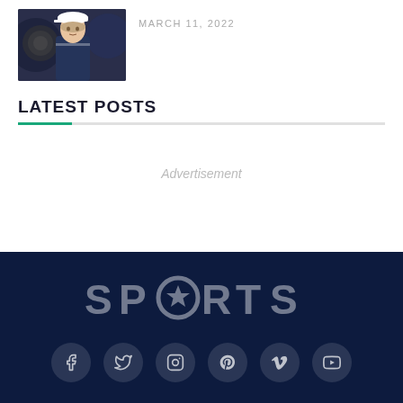[Figure (photo): Female tennis player wearing a white cap and blue outfit, with a blurred background]
MARCH 11, 2022
LATEST POSTS
Advertisement
[Figure (logo): SPORTS logo in light gray on dark navy background, with a star shape replacing the O]
Social media icons: Facebook, Twitter, Instagram, Pinterest, Vimeo, YouTube